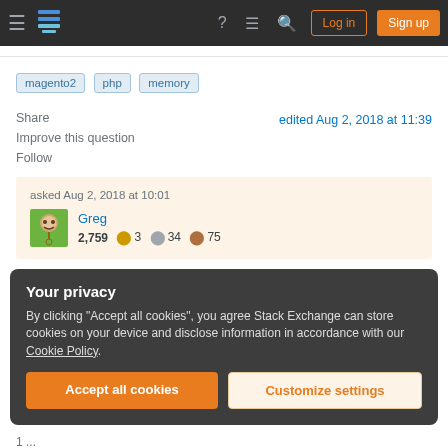Stack Exchange navigation bar with Log in and Sign up buttons
magento2
php
memory
Share
Improve this question
Follow
edited Aug 2, 2018 at 11:39
asked Aug 2, 2018 at 10:01
Greg
2,759  ○3  ○34  ○75
Your privacy
By clicking "Accept all cookies", you agree Stack Exchange can store cookies on your device and disclose information in accordance with our Cookie Policy.
Accept all cookies   Customize settings